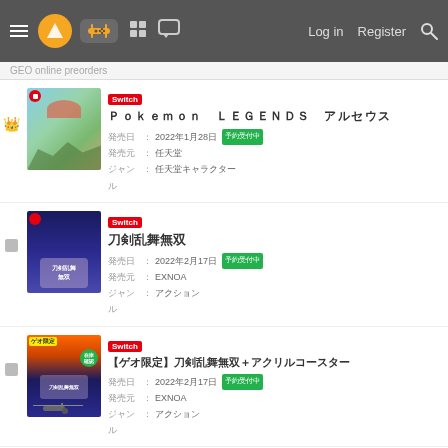Navigation bar with hamburger, logo, games, grid, chat icons, Log in, Register, Search
GEO online preorders
[Figure (screenshot): Game listing: Switch - Pokemon LEGENDS アルセウス, 発売日: 2022年1月28日 予約受付中, 発売元: 任天堂, ジャンル: 任天堂キャラクター]
[Figure (screenshot): Game listing: Switch - 刀剣乱舞無双, 発売日: 2022年2月17日 予約受付中, 発売元: EXNOA, ジャンル: アクション]
[Figure (screenshot): Game listing: Switch - 【ゲオ限定】刀剣乱舞無双＋アクリルコースター, 発売日: 2022年2月17日 予約受付中, 発売元: EXNOA, ジャンル: アクション]
[Figure (screenshot): Game listing: PS5 - Horizon Forbidden West, 発売日: 2022年2月18日 予約受付中, 発売元: ソニー・インタラクティブエンタテインメント, ジャンル: ロールプレイング]